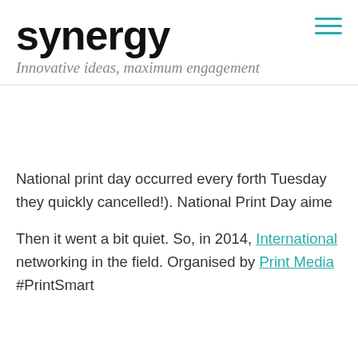synergy — Innovative ideas, maximum engagement
National print day occurred every forth Tuesday they quickly cancelled!). National Print Day aime
Then it went a bit quiet. So, in 2014, International networking in the field. Organised by Print Media #PrintSmart